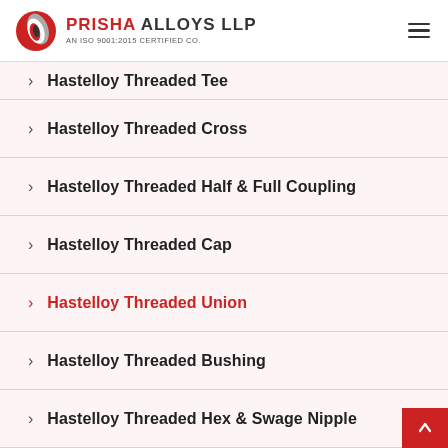PRISHA ALLOYS LLP — AN ISO 9001:2015 CERTIFIED CO.
Hastelloy Threaded Tee
Hastelloy Threaded Cross
Hastelloy Threaded Half & Full Coupling
Hastelloy Threaded Cap
Hastelloy Threaded Union
Hastelloy Threaded Bushing
Hastelloy Threaded Hex & Swage Nipple